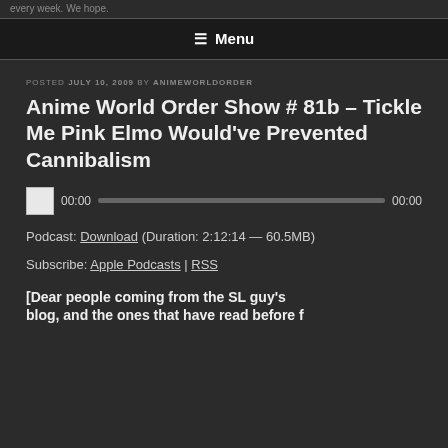every week. We hope.
≡ Menu
POSTED JULY 10, 2009 BY ANIMEWORLDORDER
Anime World Order Show # 81b – Tickle Me Pink Elmo Would've Prevented Cannibalism
[Figure (other): Audio player with play button, time display 00:00, progress bar, and end time 00:00]
Podcast: Download (Duration: 2:12:14 — 60.5MB)
Subscribe: Apple Podcasts | RSS
[Dear people coming from the SL guy's blog, and the ones that have read before f